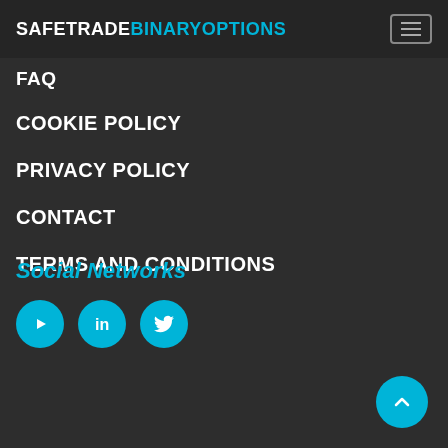SAFETRADEBINARYOPTIONS
FAQ
COOKIE POLICY
PRIVACY POLICY
CONTACT
TERMS AND CONDITIONS
Social Networks
[Figure (illustration): Three circular cyan social media icons: YouTube, LinkedIn, Twitter]
[Figure (illustration): Back to top button - cyan circle with upward chevron arrow]